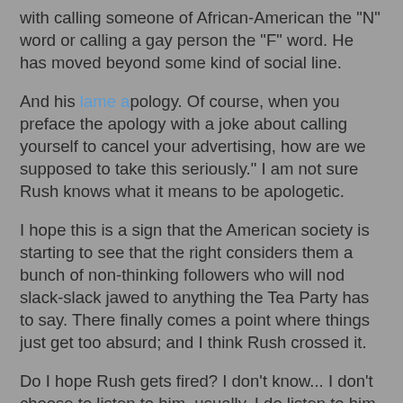with calling someone of African-American the "N" word or calling a gay person the "F" word.  He has moved beyond some kind of social line.
And his lame apology.  Of course, when you preface the apology with a joke about calling yourself to cancel your advertising, how are we supposed to take this seriously."  I am not sure Rush knows what it means to be apologetic.
I hope this is a sign that the American society is starting to see that the right considers them a bunch of non-thinking followers who will nod slack-slack jawed to anything the Tea Party has to say.  There finally comes a point where things just get too absurd; and I think Rush crossed it.
Do I hope Rush gets fired?  I don't know...  I don't choose to listen to him, usually.  I do listen to him when I am on a long drive so I have something to keep me angry, I mean "awake," after lunch.  But other than that, I don't choose to listen to him.  I am upset that people take his words as gospel truth, but that seems to be ending.  I think he gets way too much money for what he does, and that he has way